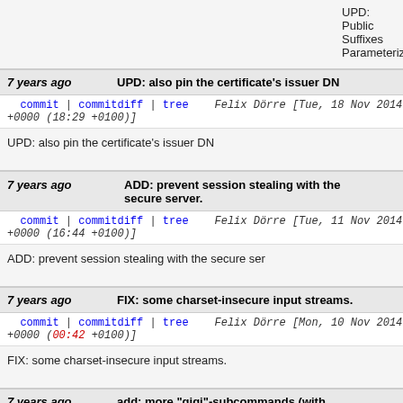UPD: Public Suffixes Parameterized.
7 years ago	UPD: also pin the certificate's issuer DN
commit | commitdiff | tree	Felix Dörre [Tue, 18 Nov 2014 17:29:06 +0000 (18:29 +0100)]
UPD: also pin the certificate's issuer DN
7 years ago	ADD: prevent session stealing with the secure server.
commit | commitdiff | tree	Felix Dörre [Tue, 11 Nov 2014 15:44:33 +0000 (16:44 +0100)]
ADD: prevent session stealing with the secure ser
7 years ago	FIX: some charset-insecure input streams.
commit | commitdiff | tree	Felix Dörre [Mon, 10 Nov 2014 23:42:23 +0000 (00:42 +0100)]
FIX: some charset-insecure input streams.
7 years ago	add: more "gigi"-subcommands (with manpage)